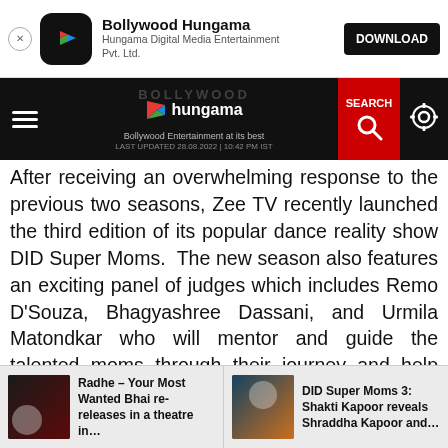[Figure (screenshot): App download banner for Bollywood Hungama app with close button, app icon, app name, publisher name, and DOWNLOAD button]
[Figure (screenshot): Bollywood Hungama website navigation bar with hamburger menu, logo, SEARCH button in red, and settings gear icon. Shows LAST UPDATED 28.08.2022 | 10:42 PM IST]
After receiving an overwhelming response to the previous two seasons, Zee TV recently launched the third edition of its popular dance reality show DID Super Moms.  The new season also features an exciting panel of judges which includes Remo D'Souza, Bhagyashree Dassani, and Urmila Matondkar who will mentor and guide the talented moms through their journey and help them achieve their dancing dreams. Like every weekend, this weekend too will have some special guests who will be a part of the show. This time actors Shakti Kapoor and Chunky Panday will be a part of the show for 'The Comedy Special Episode.' During the
[Figure (screenshot): Bottom recommended articles strip with two cards: 'Radhe – Your Most Wanted Bhai re-releases in a theatre in...' and 'DID Super Moms 3: Shakti Kapoor reveals Shraddha Kapoor and...']